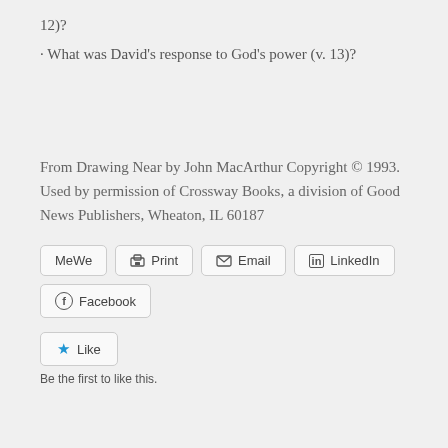12)?
· What was David's response to God's power (v. 13)?
From Drawing Near by John MacArthur Copyright © 1993. Used by permission of Crossway Books, a division of Good News Publishers, Wheaton, IL 60187
[Figure (other): Social sharing buttons row: MeWe, Print, Email, LinkedIn, and below: Facebook]
[Figure (other): Like button with star icon and text 'Be the first to like this.']